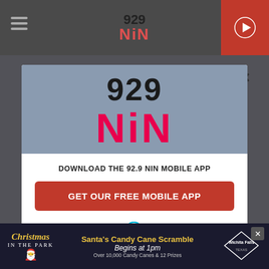[Figure (screenshot): 929 NIN radio station website header with hamburger menu on left, 929 NIN logo in center, and red play button on right]
[Figure (logo): 929 NIN radio station logo in modal header - large stylized text with '929' in black and 'NiN' in red/pink gradient]
DOWNLOAD THE 92.9 NIN MOBILE APP
GET OUR FREE MOBILE APP
Also listen on:  amazon alexa
[Figure (illustration): Christmas in the Park advertisement banner at bottom - shows Santa's Candy Cane Scramble event with Christmas and Wichita Falls Texas branding]